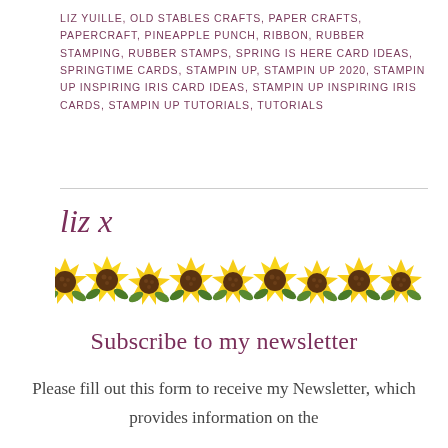LIZ YUILLE, OLD STABLES CRAFTS, PAPER CRAFTS, PAPERCRAFT, PINEAPPLE PUNCH, RIBBON, RUBBER STAMPING, RUBBER STAMPS, SPRING IS HERE CARD IDEAS, SPRINGTIME CARDS, STAMPIN UP, STAMPIN UP 2020, STAMPIN UP INSPIRING IRIS CARD IDEAS, STAMPIN UP INSPIRING IRIS CARDS, STAMPIN UP TUTORIALS, TUTORIALS
[Figure (illustration): Cursive signature reading 'liz x' in dark purple/mauve color, followed by a decorative row of illustrated sunflowers spanning the width of the page]
Subscribe to my newsletter
Please fill out this form to receive my Newsletter, which provides information on the